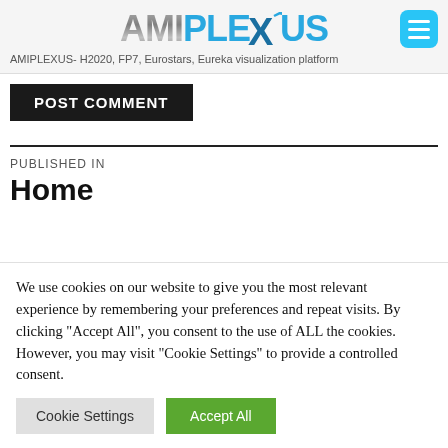AMIPLEXUS - AMIPLEXUS- H2020, FP7, Eurostars, Eureka visualization platform
POST COMMENT
PUBLISHED IN
Home
We use cookies on our website to give you the most relevant experience by remembering your preferences and repeat visits. By clicking "Accept All", you consent to the use of ALL the cookies. However, you may visit "Cookie Settings" to provide a controlled consent.
Cookie Settings | Accept All